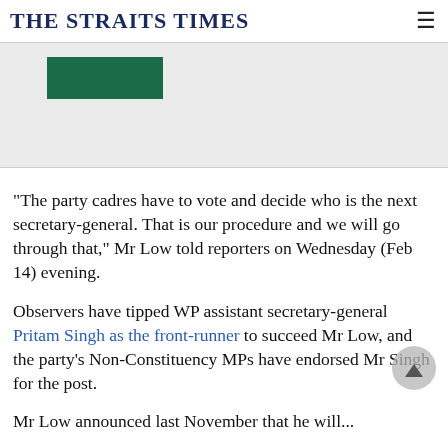THE STRAITS TIMES
[Figure (other): Advertisement banner with green block element on light grey background]
"The party cadres have to vote and decide who is the next secretary-general. That is our procedure and we will go through that," Mr Low told reporters on Wednesday (Feb 14) evening.
Observers have tipped WP assistant secretary-general Pritam Singh as the front-runner to succeed Mr Low, and the party's Non-Constituency MPs have endorsed Mr Singh for the post.
Mr Low announced last November that he will...